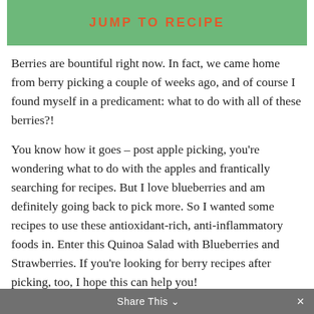JUMP TO RECIPE
Berries are bountiful right now. In fact, we came home from berry picking a couple of weeks ago, and of course I found myself in a predicament: what to do with all of these berries?!
You know how it goes – post apple picking, you're wondering what to do with the apples and frantically searching for recipes. But I love blueberries and am definitely going back to pick more. So I wanted some recipes to use these antioxidant-rich, anti-inflammatory foods in. Enter this Quinoa Salad with Blueberries and Strawberries. If you're looking for berry recipes after picking, too, I hope this can help you!
Share This ×